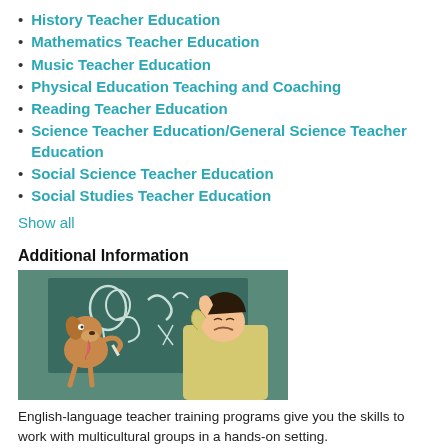History Teacher Education
Mathematics Teacher Education
Music Teacher Education
Physical Education Teaching and Coaching
Reading Teacher Education
Science Teacher Education/General Science Teacher Education
Social Science Teacher Education
Social Studies Teacher Education
Show all
Additional Information
[Figure (illustration): Cartoon illustration of a dog at a chalkboard teaching, with a frustrated student in the foreground holding their head.]
English-language teacher training programs give you the skills to work with multicultural groups in a hands-on setting.
Colleges and universities offer a variety of certificates